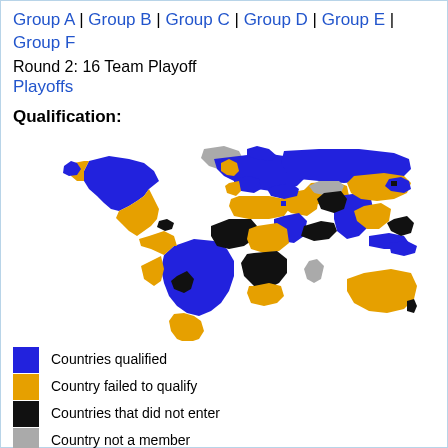Group A | Group B | Group C | Group D | Group E | Group F
Round 2: 16 Team Playoff
Playoffs
Qualification:
[Figure (map): World map showing qualification status: blue for countries qualified, orange for country failed to qualify, black for countries that did not enter, gray for country not a member]
Countries qualified
Country failed to qualify
Countries that did not enter
Country not a member
Notes: